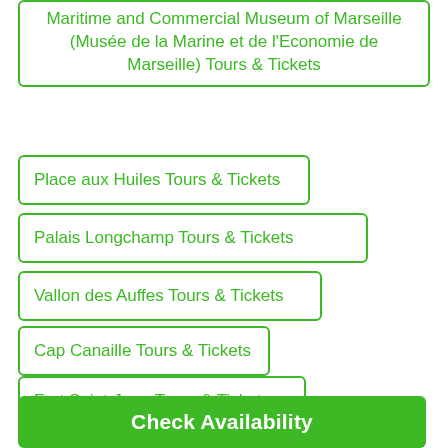Maritime and Commercial Museum of Marseille (Musée de la Marine et de l'Economie de Marseille) Tours & Tickets
Place aux Huiles Tours & Tickets
Palais Longchamp Tours & Tickets
Vallon des Auffes Tours & Tickets
Cap Canaille Tours & Tickets
Fort Saint-Jean Tours & Tickets
Cantini Museum (Musée Cantini) Tours & Tickets
Check Availability